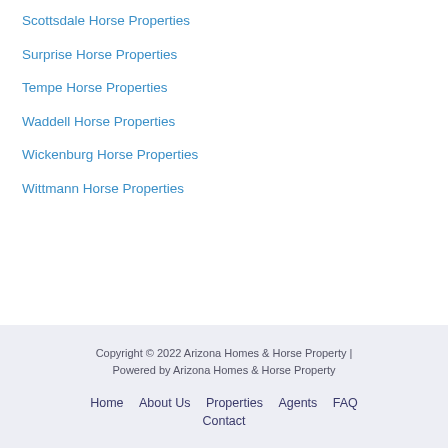Scottsdale Horse Properties
Surprise Horse Properties
Tempe Horse Properties
Waddell Horse Properties
Wickenburg Horse Properties
Wittmann Horse Properties
Copyright © 2022 Arizona Homes & Horse Property | Powered by Arizona Homes & Horse Property
Home  About Us  Properties  Agents  FAQ  Contact